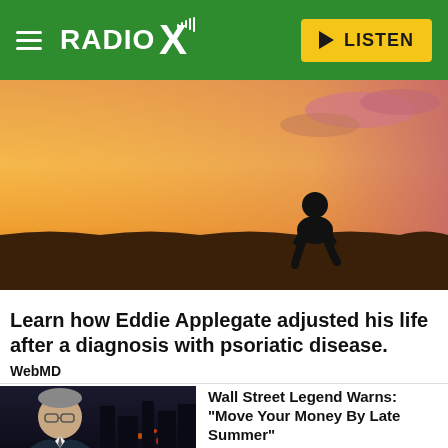RADIO X — LISTEN
[Figure (photo): Silhouette of a person sitting in a field at sunset with golden and orange sky]
Learn how Eddie Applegate adjusted his life after a diagnosis with psoriatic disease.
WebMD
[Figure (photo): Older man with glasses against a city skyline at night]
Wall Street Legend Warns: "Move Your Money By Late Summer"
Visionary Profit